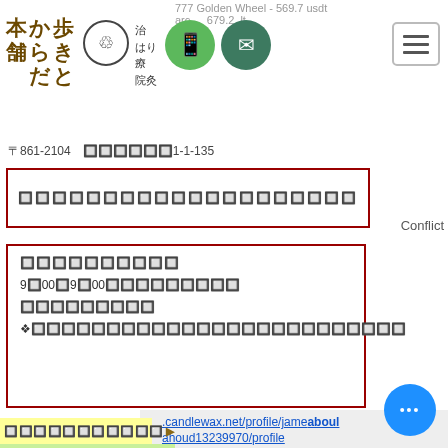777 Golden Wheel - 569.7 usdt
[Figure (screenshot): Japanese business website screenshot showing logo with kanji characters 本舗, 歩きとからだ, acupuncture clinic symbols, phone and mail buttons, hamburger menu, address in Japanese characters, two red-bordered info boxes with garbled/encoded Japanese text, yellow and green highlighted sections with encoded text, multiple profile URL links, and a blue floating action button.]
〒861-2104 　熊本市北区1-1-135
ご予約・お問い合わせはこちら
診療時間
9時00分〜9時00分（時間外は応相談）
定休日：日曜日
※初診・再診・交通事故・保険外診療も受け付けております
Conflict
お問い合わせフォーム　▶
LINE公式アカウント　👉
https://www.candlewax.net/profile/jameaboulahoud13239970/profile
https://www.growthpulsemy.com/profile/adriannapassey128344/profile
https://www.apssitechsoftware.com/profile/freddiesvoboda16938470/profile
https://www.nunips.com.au/profile/petesuffridge9832105/profile